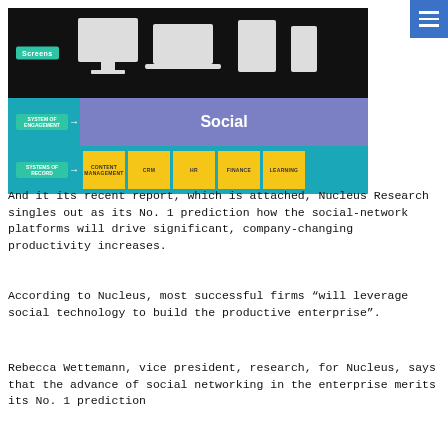[Figure (infographic): A two-part infographic. Top: black bar with 'Screens' label in teal and white icons of desktop, laptop, tablet, and phone on a blue background. Middle: teal bar with 'System of Engagement' label and arrow pointing to a purple 'Social' box. Bottom: teal bar with 'Systems of Record' label and arrow pointing to yellow boxes labeled Content Management, CRM, HR, Finance, Learning.]
And it its recent report, which is attached, Nucleus Research singles out as its No. 1 prediction how the social-network platforms will drive significant, company-changing productivity increases.
According to Nucleus, most successful firms “will leverage social technology to build the productive enterprise”.
Rebecca Wettemann, vice president, research, for Nucleus, says that the advance of social networking in the enterprise merits its No. 1 prediction